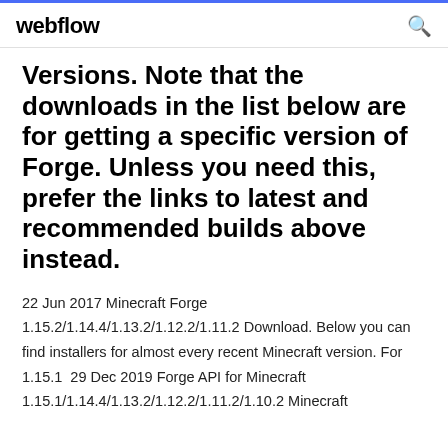webflow
Versions. Note that the downloads in the list below are for getting a specific version of Forge. Unless you need this, prefer the links to latest and recommended builds above instead.
22 Jun 2017 Minecraft Forge 1.15.2/1.14.4/1.13.2/1.12.2/1.11.2 Download. Below you can find installers for almost every recent Minecraft version. For 1.15.1  29 Dec 2019 Forge API for Minecraft 1.15.1/1.14.4/1.13.2/1.12.2/1.11.2/1.10.2 Minecraft